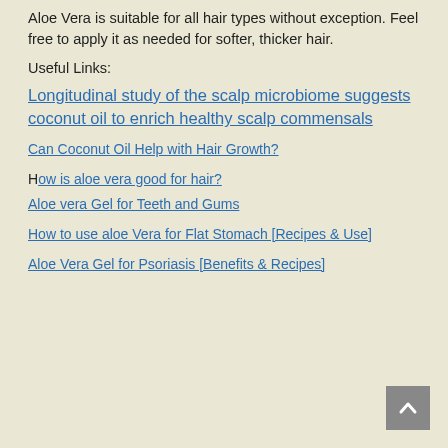Aloe Vera is suitable for all hair types without exception. Feel free to apply it as needed for softer, thicker hair.
Useful Links:
Longitudinal study of the scalp microbiome suggests coconut oil to enrich healthy scalp commensals
Can Coconut Oil Help with Hair Growth?
How is aloe vera good for hair?
Aloe vera Gel for Teeth and Gums
How to use aloe Vera for Flat Stomach [Recipes & Use]
Aloe Vera Gel for Psoriasis [Benefits & Recipes]